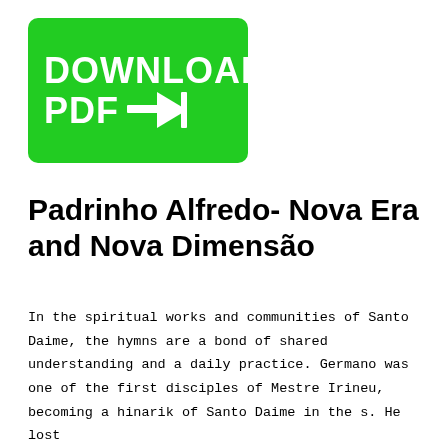[Figure (other): Green download button with white bold text reading 'DOWNLOAD PDF →|']
Padrinho Alfredo- Nova Era and Nova Dimensão
In the spiritual works and communities of Santo Daime, the hymns are a bond of shared understanding and a daily practice. Germano was one of the first disciples of Mestre Irineu, becoming a hinarik of Santo Daime in the s. He lost